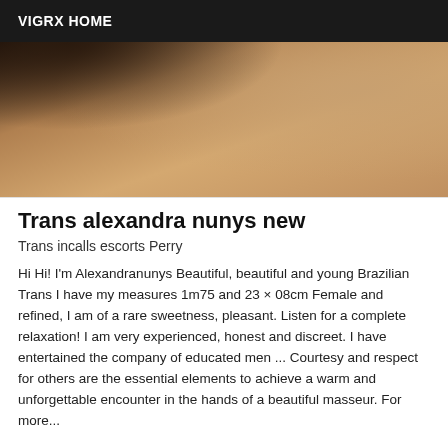VIGRX HOME
[Figure (photo): Close-up photo of a person's back/shoulder area with skin tones in brown and tan colors, hair visible at top left]
Trans alexandra nunys new
Trans incalls escorts Perry
Hi Hi! I'm Alexandranunys Beautiful, beautiful and young Brazilian Trans I have my measures 1m75 and 23 × 08cm Female and refined, I am of a rare sweetness, pleasant. Listen for a complete relaxation! I am very experienced, honest and discreet. I have entertained the company of educated men ... Courtesy and respect for others are the essential elements to achieve a warm and unforgettable encounter in the hands of a beautiful masseur. For more...